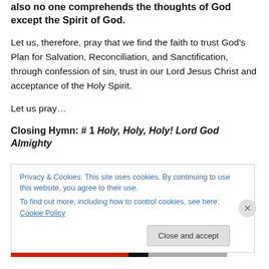also no one comprehends the thoughts of God except the Spirit of God.
Let us, therefore, pray that we find the faith to trust God's Plan for Salvation, Reconciliation, and Sanctification, through confession of sin, trust in our Lord Jesus Christ and acceptance of the Holy Spirit.
Let us pray…
Closing Hymn: # 1 Holy, Holy, Holy! Lord God Almighty
Privacy & Cookies: This site uses cookies. By continuing to use this website, you agree to their use. To find out more, including how to control cookies, see here: Cookie Policy